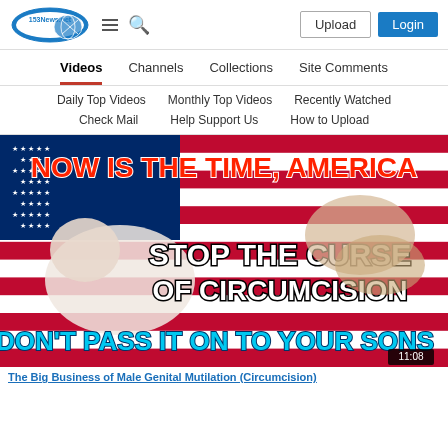153News.net - Upload | Login
Videos | Channels | Collections | Site Comments
Daily Top Videos | Monthly Top Videos | Recently Watched
Check Mail | Help Support Us | How to Upload
[Figure (screenshot): Video thumbnail with American flag background, infant, gloved hands, and text: NOW IS THE TIME, AMERICA / STOP THE CURSE OF CIRCUMCISION / DON'T PASS IT ON TO YOUR SONS. Duration 11:08.]
The Big Business of Male Genital Mutilation (Circumcision)